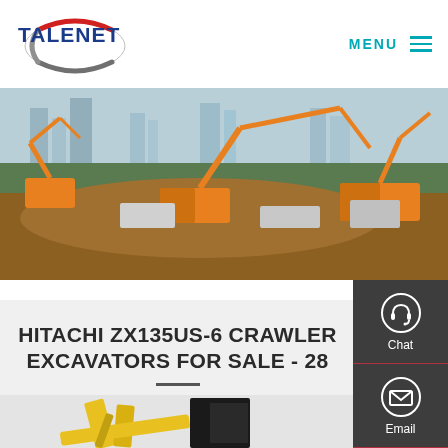[Figure (logo): TALENET logo with red and grey oval swoosh, blue bold text]
MENU
[Figure (photo): Construction site with multiple orange crawler excavators working on an earthmoving site with city buildings in the background]
HITACHI ZX135US-6 CRAWLER EXCAVATORS FOR SALE - 28
[Figure (photo): Yellow excavator arm and cab visible at the bottom of the page]
[Figure (illustration): Chat support icon (headset silhouette in circle)]
Chat
[Figure (illustration): Email icon (envelope) in circle]
Email
[Figure (illustration): Contact/message icon (speech bubble with dots) in circle]
Contact